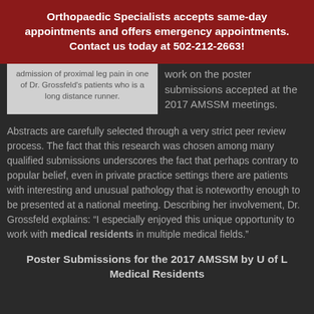Orthopaedic Specialists accepts same-day appointments and offers emergency appointments. Contact us today at 502-212-2663!
[Figure (photo): Partially visible caption box for an image, text reads: admission of proximal leg pain in one of Dr. Grossfeld's patients who is a long distance runner.]
work on the poster submissions accepted at the 2017 AMSSM meetings.
Abstracts are carefully selected through a very strict peer review process. The fact that this research was chosen among many qualified submissions underscores the fact that perhaps contrary to popular belief, even in private practice settings there are patients with interesting and unusual pathology that is noteworthy enough to be presented at a national meeting. Describing her involvement, Dr. Grossfeld explains: “I especially enjoyed this unique opportunity to work with medical residents in multiple medical fields.”
Poster Submissions for the 2017 AMSSM by U of L Medical Residents